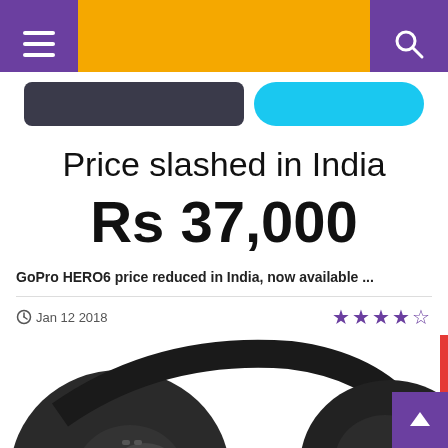Navigation header with hamburger menu and search icon
[Figure (photo): Partial view of a dark device and a blue rounded button in a white strip below the header]
Price slashed in India
Rs 37,000
GoPro HERO6 price reduced in India, now available ...
Jan 12 2018  ★★★★☆
[Figure (photo): Close-up photo of black over-ear headphones with control buttons visible]